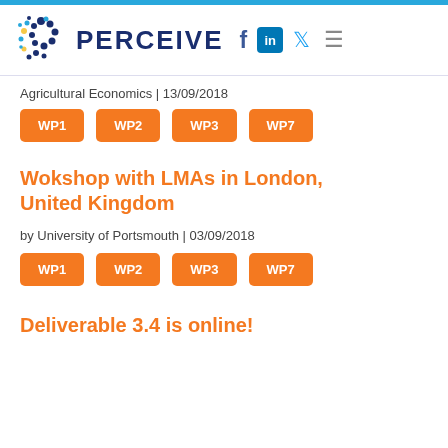PERCEIVE
Agricultural Economics | 13/09/2018
WP1 WP2 WP3 WP7
Wokshop with LMAs in London, United Kingdom
by University of Portsmouth | 03/09/2018
WP1 WP2 WP3 WP7
Deliverable 3.4 is online!